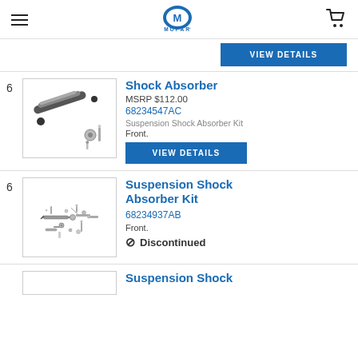MOPAR (logo, hamburger menu, cart icon)
[Figure (screenshot): View Details button (blue) at top of page]
[Figure (photo): Shock Absorber product image with mounting hardware]
Shock Absorber
MSRP $112.00
68234547AC
Suspension Shock Absorber Kit
Front.
[Figure (screenshot): VIEW DETAILS blue button]
[Figure (photo): Suspension Shock Absorber Kit exploded parts diagram]
Suspension Shock Absorber Kit
68234937AB
Front.
Discontinued
Suspension Shock...